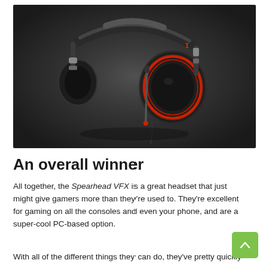[Figure (photo): A gaming headset (1More Spearhead VFX) rendered in 3D on a dark background. The headset is black with red accents on the ear cups, with a metal headband and a detachable microphone.]
An overall winner
All together, the Spearhead VFX is a great headset that just might give gamers more than they're used to. They're excellent for gaming on all the consoles and even your phone, and are a super-cool PC-based option.
With all of the different things they can do, they've pretty quickly